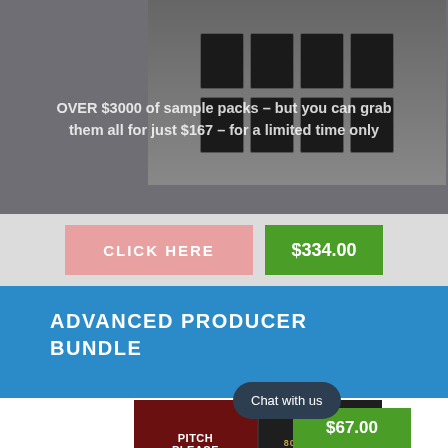[Figure (photo): Product sample pack boxes arranged in two rows on dark background]
OVER $3000 of sample packs – but you can grab them all for just $167 – for a limited time only
[Figure (other): CLICK HERE button (pink/salmon color) and $334.00 green price button]
ADVANCED PRODUCER BUNDLE
[Figure (photo): Grid of music production sample pack covers including Pitch Please and 808 Warfare]
[Figure (other): $67.00 green price button]
Chat with us